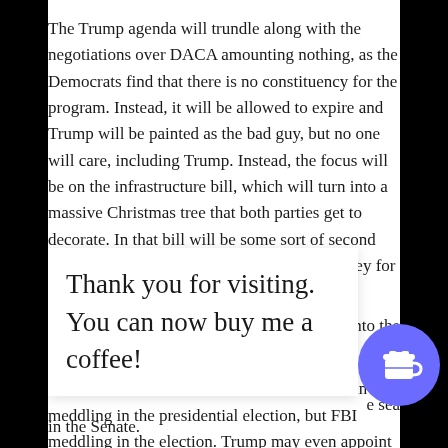The Trump agenda will trundle along with the negotiations over DACA amounting nothing, as the Democrats find that there is no constituency for the program. Instead, it will be allowed to expire and Trump will be painted as the bad guy, but no one will care, including Trump. Instead, the focus will be on the infrastructure bill, which will turn into a massive Christmas tree that both parties get to decorate. In that bill will be some sort of second chance provision for DACA, along with money for that wall and other immigration items.
On the domestic political front, the Mueller investigation will keep taking on water as it becomes clear that the real issue is not Russian meddling in the presidential election, but FBI meddling in the election. Trump may even appoint a new special prosecutor to dig into the FBI, Uranium One [into the] ... a ... [Democ...] ... [e sea...]
in the Senate.
[Figure (other): Thank you for visiting. You can now buy me a coffee! overlay with coffee cup icon button]